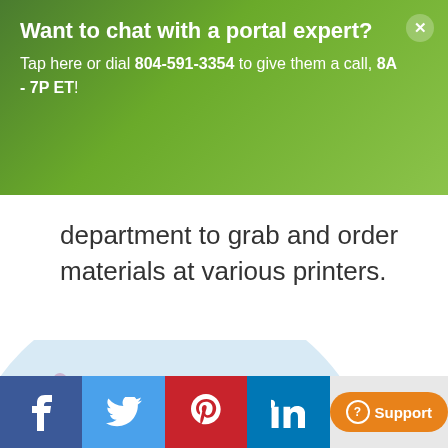Want to chat with a portal expert? Tap here or dial 804-591-3354 to give them a call, 8A - 7P ET!
department to grab and order materials at various printers.
[Figure (illustration): Partial illustration showing a large light blue circular shape with a red/orange gear icon in the lower-left corner, and a dashed curved path in the background]
Facebook | Twitter | Pinterest | LinkedIn | Support